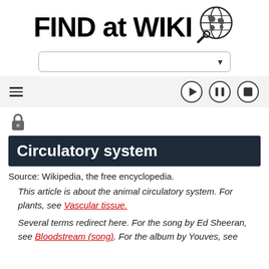[Figure (logo): FIND at WIKI logo with globe and magnifying glass icon]
[Figure (screenshot): Search dropdown bar]
[Figure (screenshot): Hamburger menu and media playback controls (play, pause, stop)]
[Figure (illustration): Lock icon (privacy/login indicator)]
Circulatory system
Source: Wikipedia, the free encyclopedia.
This article is about the animal circulatory system. For plants, see Vascular tissue.
Several terms redirect here. For the song by Ed Sheeran, see Bloodstream (song). For the album by Youves, see